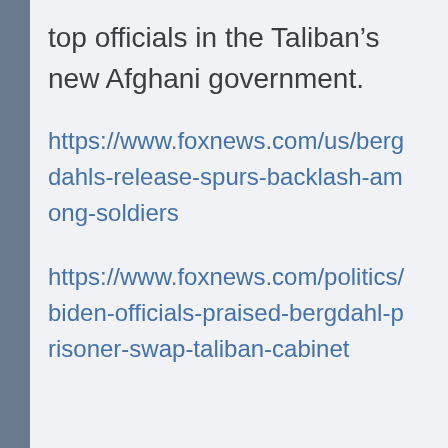top officials in the Taliban's new Afghani government.
https://www.foxnews.com/us/bergdahls-release-spurs-backlash-among-soldiers
https://www.foxnews.com/politics/biden-officials-praised-bergdahl-prisoner-swap-taliban-cabinet